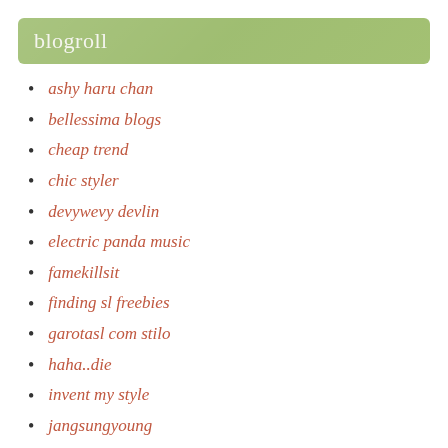blogroll
ashy haru chan
bellessima blogs
cheap trend
chic styler
devywevy devlin
electric panda music
famekillsit
finding sl freebies
garotasl com stilo
haha..die
invent my style
jangsungyoung
kaleidoscope
knight fashion closet
kottonmouth kisses